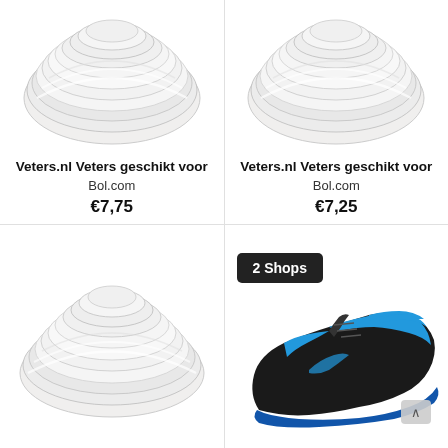[Figure (photo): Coiled white shoelaces product image, top-left]
Veters.nl Veters geschikt voor
Bol.com
€7,75
[Figure (photo): Coiled white shoelaces product image, top-right]
Veters.nl Veters geschikt voor
Bol.com
€7,25
[Figure (photo): Coiled white shoelaces product image, bottom-left]
[Figure (photo): Black and blue athletic shoe with '2 Shops' badge, bottom-right]